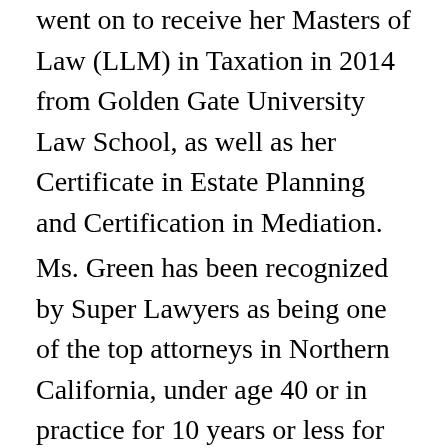went on to receive her Masters of Law (LLM) in Taxation in 2014 from Golden Gate University Law School, as well as her Certificate in Estate Planning and Certification in Mediation.
Ms. Green has been recognized by Super Lawyers as being one of the top attorneys in Northern California, under age 40 or in practice for 10 years or less for the past 5 years (2013-2017). Ms. Green was awarded The Innovator Award by Powerful Women of the Bay Area in 2015, in addition to receiving recognition as a 2015